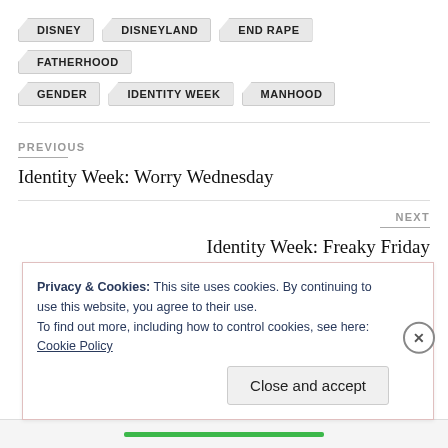DISNEY
DISNEYLAND
END RAPE
FATHERHOOD
GENDER
IDENTITY WEEK
MANHOOD
PREVIOUS
Identity Week: Worry Wednesday
NEXT
Identity Week: Freaky Friday
Privacy & Cookies: This site uses cookies. By continuing to use this website, you agree to their use.
To find out more, including how to control cookies, see here: Cookie Policy
Close and accept